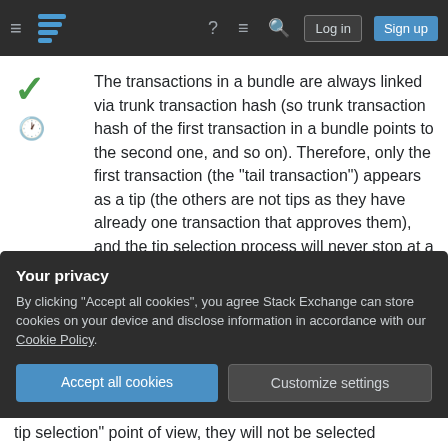Stack Exchange navigation bar with hamburger menu, logo, help, chat, search icons, Log in and Sign up buttons
The transactions in a bundle are always linked via trunk transaction hash (so trunk transaction hash of the first transaction in a bundle points to the second one, and so on). Therefore, only the first transaction (the "tail transaction") appears as a tip (the others are not tips as they have already one transaction that approves them), and the tip selection process will never stop at a transaction that is not the tail transaction (since when there is at least one consistent transaction that approves the current
Your privacy
By clicking "Accept all cookies", you agree Stack Exchange can store cookies on your device and disclose information in accordance with our Cookie Policy.
Accept all cookies  Customize settings
tip selection" point of view, they will not be selected